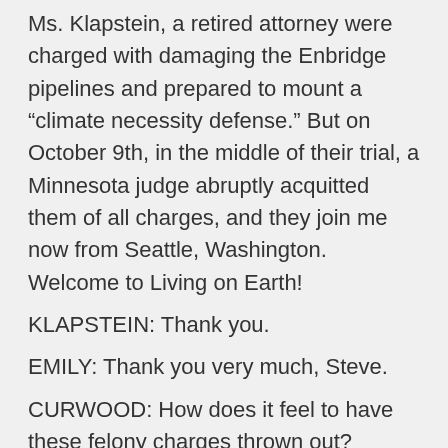Ms. Klapstein, a retired attorney were charged with damaging the Enbridge pipelines and prepared to mount a “climate necessity defense.” But on October 9th, in the middle of their trial, a Minnesota judge abruptly acquitted them of all charges, and they join me now from Seattle, Washington. Welcome to Living on Earth!
KLAPSTEIN: Thank you.
EMILY: Thank you very much, Steve.
CURWOOD: How does it feel to have these felony charges thrown out? Annette?
KLAPSTEIN: I think we all have mixed feelings about that. I've been feeling giddy with happiness that we are not going to jail, and quite frankly that I'm off bail and may have the opportunity to do civil disobedience again because I had to be very careful while out on bail